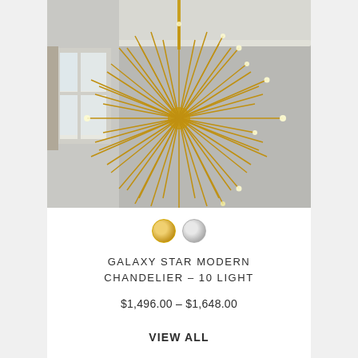[Figure (photo): A gold sputnik/starburst style chandelier with many radiating brass spikes and 10 lights, hanging in a room with grey walls and a window visible on the left side.]
[Figure (illustration): Two color swatches: a gold/brass circle on the left and a silver/nickel circle on the right.]
GALAXY STAR MODERN CHANDELIER - 10 LIGHT
$1,496.00 – $1,648.00
VIEW ALL